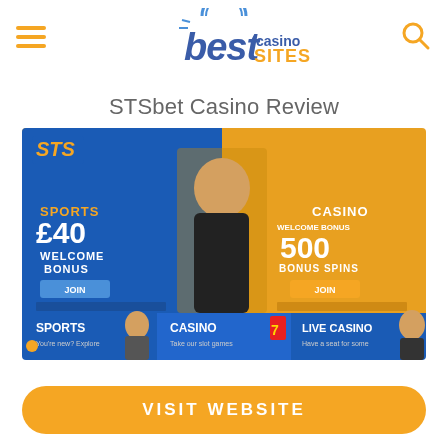[Figure (logo): Best Casino Sites logo with hamburger menu and search icon]
STSbet Casino Review
[Figure (screenshot): STSbet Casino website screenshot showing Sports £40 Welcome Bonus and Casino 500 Bonus Spins offers with blue and orange design, plus Sports, Casino, Live Casino bottom navigation]
VISIT WEBSITE